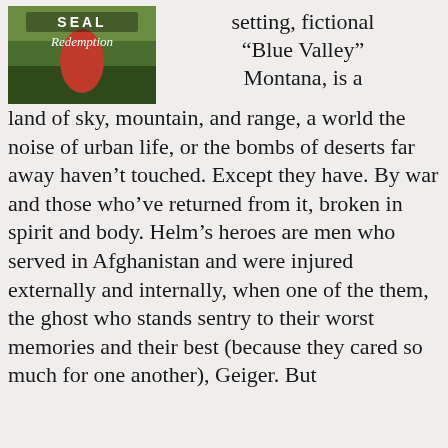[Figure (photo): Book cover image for 'SEAL Redemption' showing a person in a red garment with script lettering on a green background]
setting, fictional “Blue Valley” Montana, is a land of sky, mountain, and range, a world the noise of urban life, or the bombs of deserts far away haven’t touched. Except they have. By war and those who’ve returned from it, broken in spirit and body. Helm’s heroes are men who served in Afghanistan and were injured externally and internally, when one of the them, the ghost who stands sentry to their worst memories and their best (because they cared so much for one another), Geiger. But